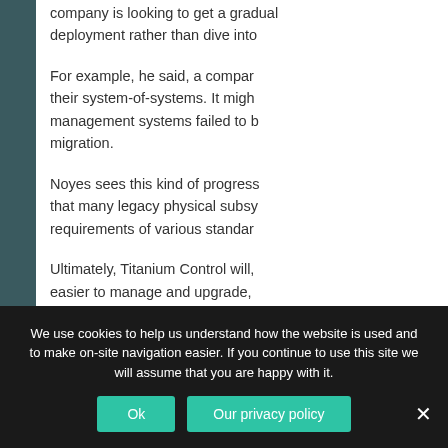company is looking to get a gradual deployment rather than dive into
For example, he said, a company their system-of-systems. It might management systems failed to b migration.
Noyes sees this kind of progress that many legacy physical subsy requirements of various standar
Ultimately, Titanium Control will, easier to manage and upgrade,
“Then, as we look toward the gr ‘learning loops’ based on analyt
We use cookies to help us understand how the website is used and to make on-site navigation easier. If you continue to use this site we will assume that you are happy with it.
Ok | Our privacy policy